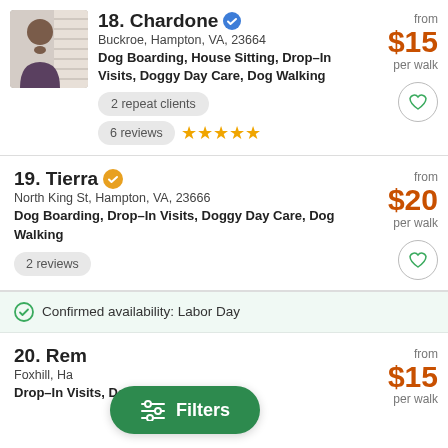[Figure (photo): Profile photo of Chardone, a woman resting her chin on her hand]
18. Chardone
Buckroe, Hampton, VA, 23664
Dog Boarding, House Sitting, Drop-In Visits, Doggy Day Care, Dog Walking
2 repeat clients
6 reviews ★★★★★
from $15 per walk
19. Tierra
North King St, Hampton, VA, 23666
Dog Boarding, Drop-In Visits, Doggy Day Care, Dog Walking
2 reviews
from $20 per walk
Confirmed availability: Labor Day
20. Rem
Foxhill, Ha...
Drop-In Visits, Dog Walking
from $15 per walk
[Figure (screenshot): Filters button overlay (green pill button with filter icon and 'Filters' text)]